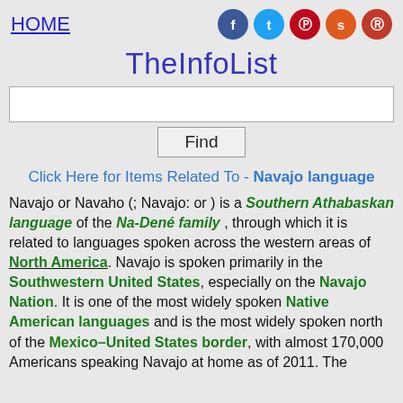HOME | [social icons: f, t, p, s, r]
TheInfoList
[search box]
Find
Click Here for Items Related To - Navajo language
Navajo or Navaho (; Navajo: or ) is a Southern Athabaskan language of the Na-Dené family, through which it is related to languages spoken across the western areas of North America. Navajo is spoken primarily in the Southwestern United States, especially on the Navajo Nation. It is one of the most widely spoken Native American languages and is the most widely spoken north of the Mexico–United States border, with almost 170,000 Americans speaking Navajo at home as of 2011. The